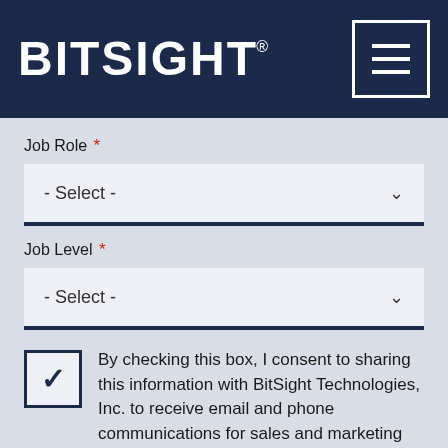[Figure (logo): BitSight logo in white text on dark navy background with hamburger menu icon on the right]
Job Role *
- Select -
Job Level *
- Select -
By checking this box, I consent to sharing this information with BitSight Technologies, Inc. to receive email and phone communications for sales and marketing purposes as described in our privacy policy. I understand I